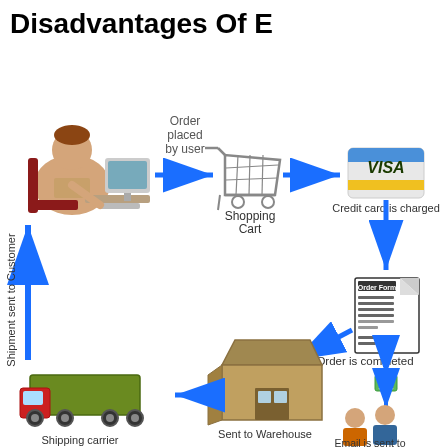Disadvantages Of E
[Figure (flowchart): E-commerce order process flowchart showing: user at computer places order → Shopping Cart → Credit card is charged → Order is completed (Order Form) → Email is sent to warehouse staff → Sent to Warehouse → Shipping carrier → Shipment sent to Customer (back to user)]